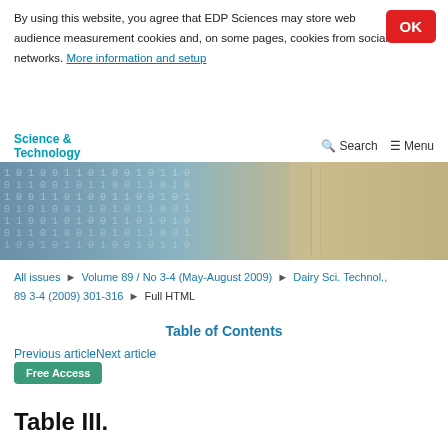By using this website, you agree that EDP Sciences may store web audience measurement cookies and, on some pages, cookies from social networks. More information and setup
Science & Technology  Search  Menu
[Figure (photo): Hero banner image showing binary code / digital data on a book or paper surface with blue and beige tones]
All issues > Volume 89 / No 3-4 (May-August 2009) > Dairy Sci. Technol., 89 3-4 (2009) 301-316 > Full HTML
Table of Contents
Previous articleNext article
Free Access
Table III.